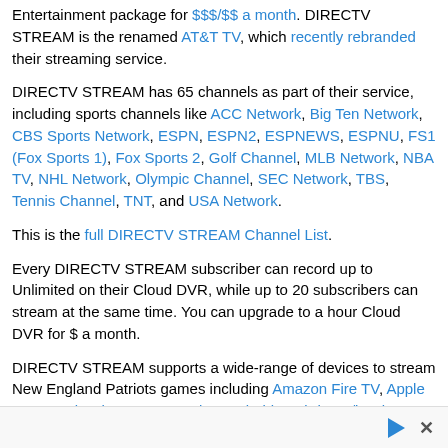Entertainment package for $$$/$$ a month. DIRECTV STREAM is the renamed AT&T TV, which recently rebranded their streaming service.
DIRECTV STREAM has 65 channels as part of their service, including sports channels like ACC Network, Big Ten Network, CBS Sports Network, ESPN, ESPN2, ESPNEWS, ESPNU, FS1 (Fox Sports 1), Fox Sports 2, Golf Channel, MLB Network, NBA TV, NHL Network, Olympic Channel, SEC Network, TBS, Tennis Channel, TNT, and USA Network.
This is the full DIRECTV STREAM Channel List.
Every DIRECTV STREAM subscriber can record up to Unlimited on their Cloud DVR, while up to 20 subscribers can stream at the same time. You can upgrade to a hour Cloud DVR for $ a month.
DIRECTV STREAM supports a wide-range of devices to stream New England Patriots games including Amazon Fire TV, Apple TV, Google Chromecast, Roku, Android TV, iPhone/iPad, Android Phone/Tablet, Mac, Windows, LG Smart TV, Samsung